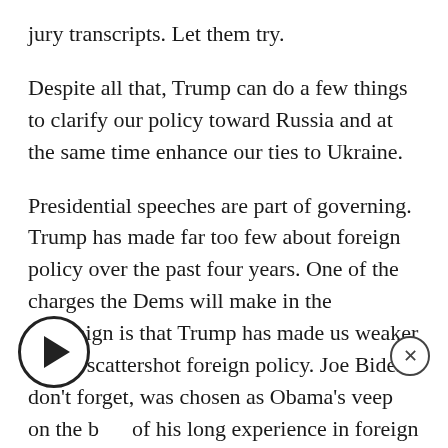jury transcripts. Let them try.
Despite all that, Trump can do a few things to clarify our policy toward Russia and at the same time enhance our ties to Ukraine.
Presidential speeches are part of governing. Trump has made far too few about foreign policy over the past four years. One of the charges the Dems will make in the campaign is that Trump has made us weaker by his scattershot foreign policy. Joe Biden, don't forget, was chosen as Obama's veep on the basis of his long experience in foreign policy (despite the fact that he's been wrong on every major issue since he became a senator).